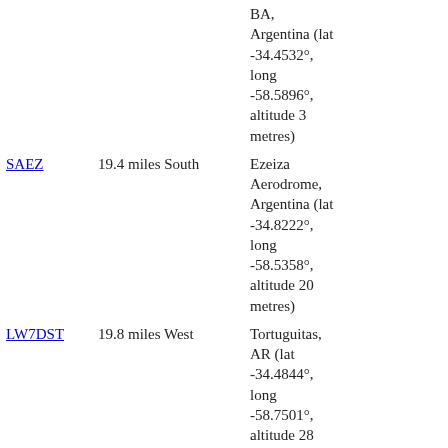| Code | Distance/Direction | Location |
| --- | --- | --- |
|  |  | BA, Argentina (lat -34.4532°, long -58.5896°, altitude 3 metres) |
| SAEZ | 19.4 miles South | Ezeiza Aerodrome, Argentina (lat -34.8222°, long -58.5358°, altitude 20 metres) |
| LW7DST | 19.8 miles West | Tortuguitas, AR (lat -34.4844°, long -58.7501°, altitude 28 metres) |
| SADL | 41.1 miles Southeast | La Plata Aerodrome, Argentina |